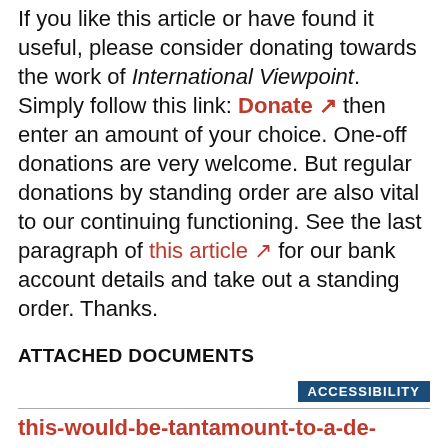If you like this article or have found it useful, please consider donating towards the work of International Viewpoint. Simply follow this link: Donate ↗ then enter an amount of your choice. One-off donations are very welcome. But regular donations by standing order are also vital to our continuing functioning. See the last paragraph of this article ↗ for our bank account details and take out a standing order. Thanks.
ATTACHED DOCUMENTS
ACCESSIBILITY
this-would-be-tantamount-to-a-de-